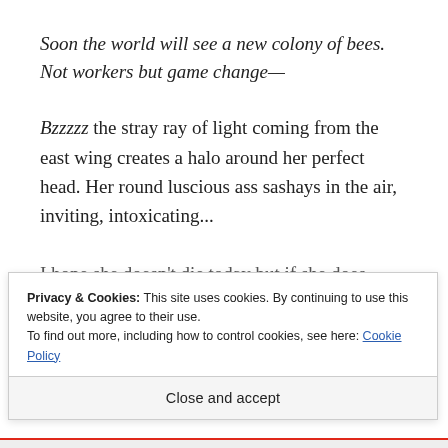Soon the world will see a new colony of bees. Not workers but game change—
Bzzzzz the stray ray of light coming from the east wing creates a halo around her perfect head. Her round luscious ass sashays in the air, inviting, intoxicating...
I hope she doesn't die today but if she does
Privacy & Cookies: This site uses cookies. By continuing to use this website, you agree to their use.
To find out more, including how to control cookies, see here: Cookie Policy
Close and accept